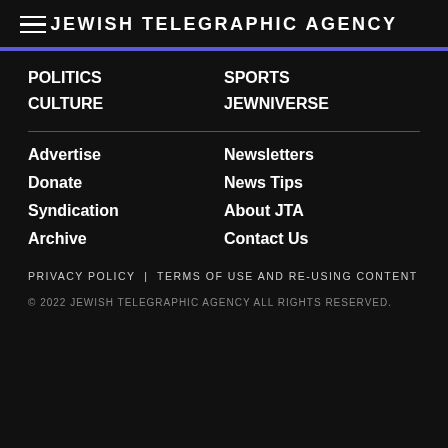JEWISH TELEGRAPHIC AGENCY
POLITICS
SPORTS
CULTURE
JEWNIVERSE
Advertise
Newsletters
Donate
News Tips
Syndication
About JTA
Archive
Contact Us
PRIVACY POLICY | TERMS OF USE AND RE-USING CONTENT
© 2022 JEWISH TELEGRAPHIC AGENCY ALL RIGHTS RESERVED.